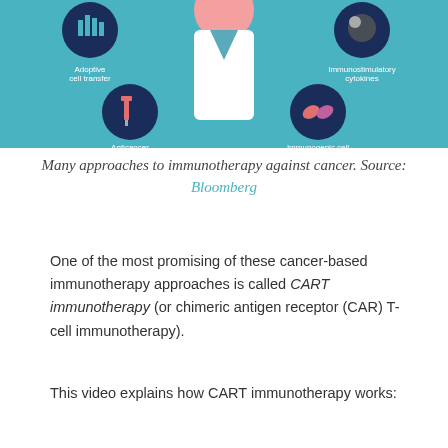[Figure (infographic): Infographic showing many approaches to immunotherapy against cancer, including Adoptive cell transfer, Immunostimulatory cytokines, Anticancer vaccines, and Immunogenic cell death inducers, illustrated with a doctor figure in the center on a teal background.]
Many approaches to immunotherapy against cancer. Source: Bloomberg
One of the most promising of these cancer-based immunotherapy approaches is called CART immunotherapy (or chimeric antigen receptor (CAR) T-cell immunotherapy).
This video explains how CART immunotherapy works: